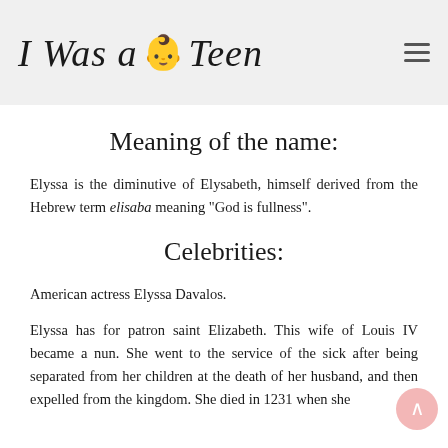I Was a 👶 Teen
Meaning of the name:
Elyssa is the diminutive of Elysabeth, himself derived from the Hebrew term elisaba meaning "God is fullness".
Celebrities:
American actress Elyssa Davalos.
Elyssa has for patron saint Elizabeth. This wife of Louis IV became a nun. She went to the service of the sick after being separated from her children at the death of her husband, and then expelled from the kingdom. She died in 1231 when she